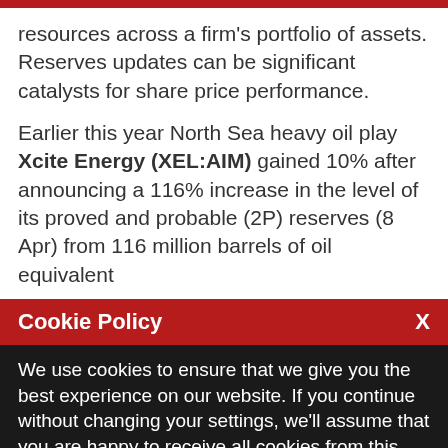resources across a firm's portfolio of assets. Reserves updates can be significant catalysts for share price performance.
Earlier this year North Sea heavy oil play Xcite Energy (XEL:AIM) gained 10% after announcing a 116% increase in the level of its proved and probable (2P) reserves (8 Apr) from 116 million barrels of oil equivalent
Cookie Policy
We use cookies to ensure that we give you the best experience on our website. If you continue without changing your settings, we'll assume that you are happy to receive all cookies from this website. If you would like to change your preferences you may do so by following the instructions here.